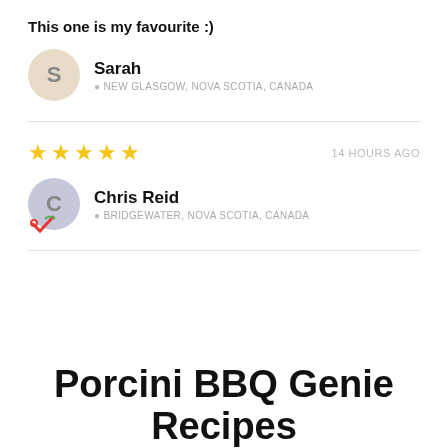This one is my favourite :)
Sarah
NEW GLASGOW, NOVA SCOTIA, CANADA
★★★★★  14 HOURS AGO
Chris Reid
BRIDGEWATER, NOVA SCOTIA, CANADA
Porcini BBQ Genie Recipes